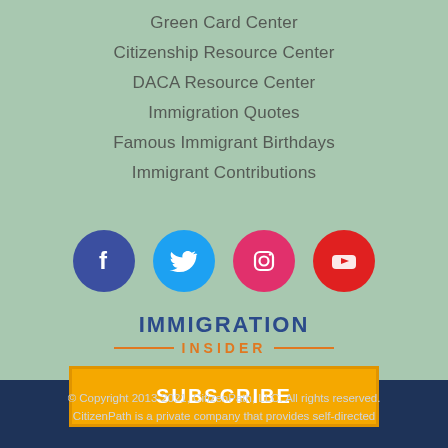Green Card Center
Citizenship Resource Center
DACA Resource Center
Immigration Quotes
Famous Immigrant Birthdays
Immigrant Contributions
[Figure (logo): Social media icons: Facebook (dark blue circle), Twitter (light blue circle), Instagram (pink circle), YouTube (red circle)]
[Figure (logo): Immigration Insider newsletter logo with blue uppercase IMMIGRATION text and orange INSIDER text with decorative lines]
SUBSCRIBE
© Copyright 2013-2021, CitizenPath, LLC. All rights reserved. CitizenPath is a private company that provides self-directed